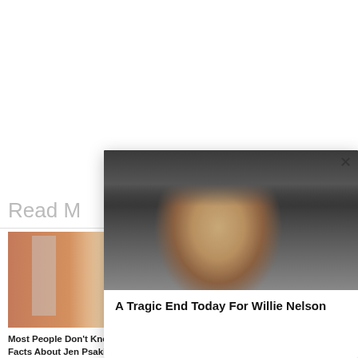Read M...
[Figure (photo): Thumbnail photo of a woman with red hair in front of a building]
Most People Don't Know These Facts About Jen Psaki (#2 Is Shocking)
🔥 28,132
[Figure (photo): Modal popup showing a close-up photo of an elderly man with long gray hair and white beard, looking directly at camera]
A Tragic End Today For Willie Nelson